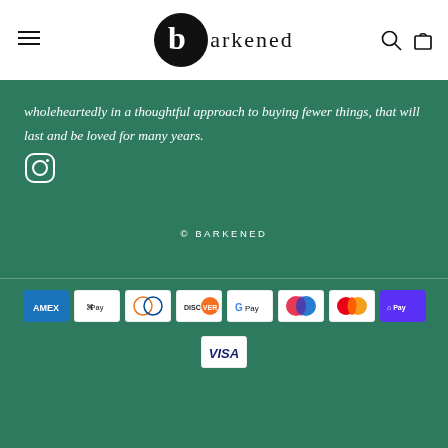[Figure (logo): Barkened logo: black circle with 'b' letter and 'arkened' text beside it]
wholeheartedly in a thoughtful approach to buying fewer things, that will last and be loved for many years.
[Figure (logo): Instagram icon (circle with camera outline)]
© BARKENED
[Figure (other): Payment method icons: American Express, Apple Pay, Diners Club, Discover, Google Pay, Maestro, Mastercard, Shop Pay, Visa]